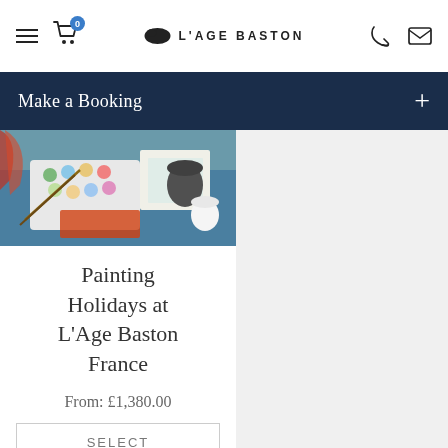L'AGE BASTON
Make a Booking
[Figure (photo): Watercolor painting supplies on a table — open paint palette, brushes, paper, and a container]
Painting Holidays at L'Age Baston France
From: £1,380.00
SELECT